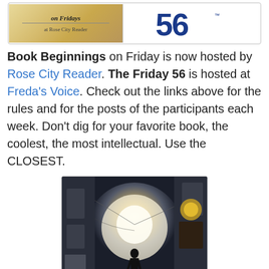[Figure (illustration): Top banner with two images: left shows 'on Fridays at Rose City Reader' on a paper/book background, right shows the Friday 56 logo with large blue number 56]
Book Beginnings on Friday is now hosted by Rose City Reader. The Friday 56 is hosted at Freda's Voice. Check out the links above for the rules and for the posts of the participants each week. Don't dig for your favorite book, the coolest, the most intellectual. Use the CLOSEST.
[Figure (photo): Book cover of 'DUALED' showing a silhouette of a female figure walking through a dark futuristic alley toward bright light, with red title text 'DUALED' and tagline 'TWO OF YOU EXIST. ONLY ONE WILL SURVIVE.']